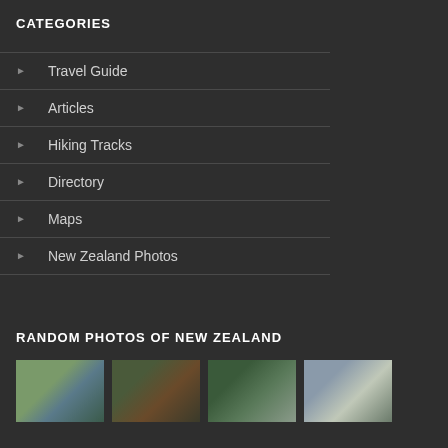CATEGORIES
Travel Guide
Articles
Hiking Tracks
Directory
Maps
New Zealand Photos
RANDOM PHOTOS OF NEW ZEALAND
[Figure (photo): Four thumbnail photos of New Zealand scenery: coastal hillside, mountain hut building, waterfall in forest, beach/lake with sky]
[Figure (photo): Partially visible second row of New Zealand photos]